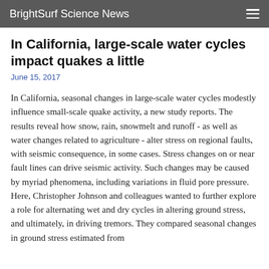BrightSurf Science News
In California, large-scale water cycles impact quakes a little
June 15, 2017
In California, seasonal changes in large-scale water cycles modestly influence small-scale quake activity, a new study reports. The results reveal how snow, rain, snowmelt and runoff - as well as water changes related to agriculture - alter stress on regional faults, with seismic consequence, in some cases. Stress changes on or near fault lines can drive seismic activity. Such changes may be caused by myriad phenomena, including variations in fluid pore pressure. Here, Christopher Johnson and colleagues wanted to further explore a role for alternating wet and dry cycles in altering ground stress, and ultimately, in driving tremors. They compared seasonal changes in ground stress estimated from